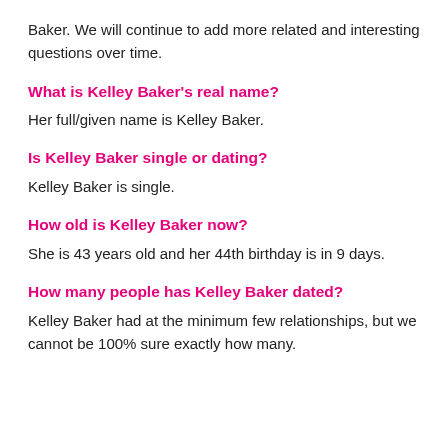Baker. We will continue to add more related and interesting questions over time.
What is Kelley Baker's real name?
Her full/given name is Kelley Baker.
Is Kelley Baker single or dating?
Kelley Baker is single.
How old is Kelley Baker now?
She is 43 years old and her 44th birthday is in 9 days.
How many people has Kelley Baker dated?
Kelley Baker had at the minimum few relationships, but we cannot be 100% sure exactly how many.